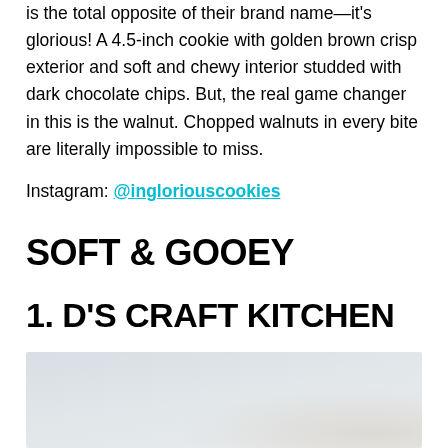is the total opposite of their brand name—it's glorious! A 4.5-inch cookie with golden brown crisp exterior and soft and chewy interior studded with dark chocolate chips. But, the real game changer in this is the walnut. Chopped walnuts in every bite are literally impossible to miss.
Instagram: @ingloriouscookies
SOFT & GOOEY
1. D'S CRAFT KITCHEN
[Figure (photo): Partial view of a light gray/white background photo, likely showing baked goods or a kitchen setting, cropped at the bottom of the page.]